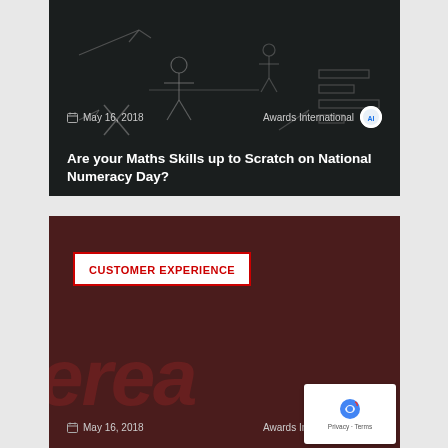[Figure (photo): Dark chalkboard-style image with hand-drawn stick figures and mathematical notations, showing date May 16, 2018 and author Awards International]
Are your Maths Skills up to Scratch on National Numeracy Day?
[Figure (photo): Dark maroon background with large stylized text 'erea' partially visible, showing a CUSTOMER EXPERIENCE badge/label]
CUSTOMER EXPERIENCE